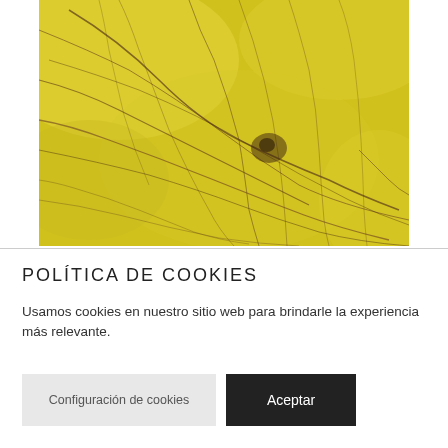[Figure (photo): Close-up photo of yellow marble or stone surface with dark brown veining and cracks running across it]
POLÍTICA DE COOKIES
Usamos cookies en nuestro sitio web para brindarle la experiencia más relevante.
Configuración de cookies
Aceptar